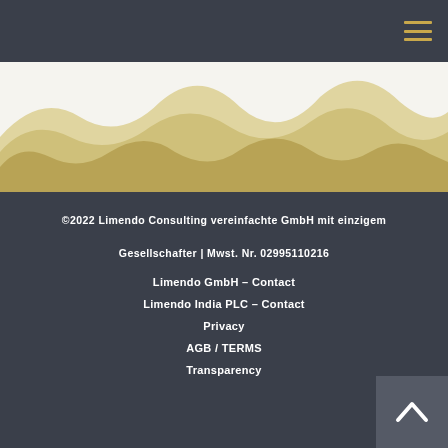[Figure (illustration): Navigation header bar with hamburger menu icon (three horizontal lines) in gold/olive color on dark background]
[Figure (illustration): Decorative mountain/hill wave silhouette illustration in shades of tan, beige, and gold on a light cream background]
©2022 Limendo Consulting vereinfachte GmbH mit einzigem Gesellschafter | Mwst. Nr. 02995110216
Limendo GmbH – Contact
Limendo India PLC – Contact
Privacy
AGB / TERMS
Transparency
[Figure (illustration): Back-to-top button with upward-pointing chevron/caret arrow icon on dark gray square background]